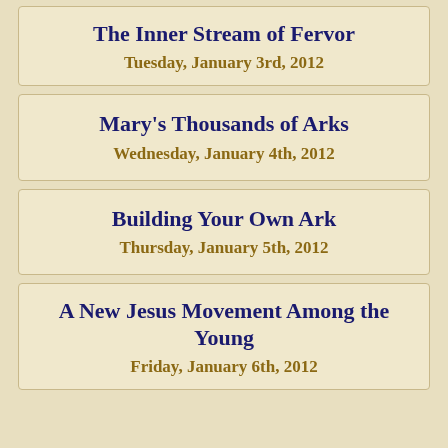The Inner Stream of Fervor
Tuesday, January 3rd, 2012
Mary's Thousands of Arks
Wednesday, January 4th, 2012
Building Your Own Ark
Thursday, January 5th, 2012
A New Jesus Movement Among the Young
Friday, January 6th, 2012